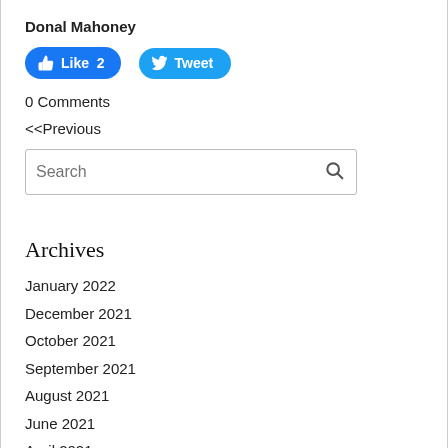Donal Mahoney
[Figure (other): Facebook Like button (blue, rounded) showing 'Like 2' and Twitter Tweet button (blue, rounded) showing 'Tweet']
0 Comments
<<Previous
[Figure (other): Search input box with magnifying glass icon]
Archives
January 2022
December 2021
October 2021
September 2021
August 2021
June 2021
April 2021